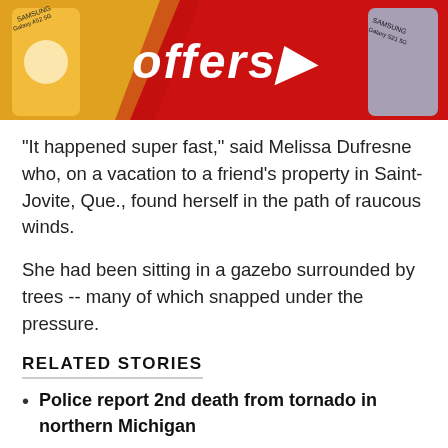[Figure (other): Advertisement banner with Samsung Galaxy phones on orange and red background with text 'offers' and arrow]
"It happened super fast," said Melissa Dufresne who, on a vacation to a friend's property in Saint-Jovite, Que., found herself in the path of raucous winds.
She had been sitting in a gazebo surrounded by trees -- many of which snapped under the pressure.
RELATED STORIES
Police report 2nd death from tornado in northern Michigan
Landspout tornado touched down in